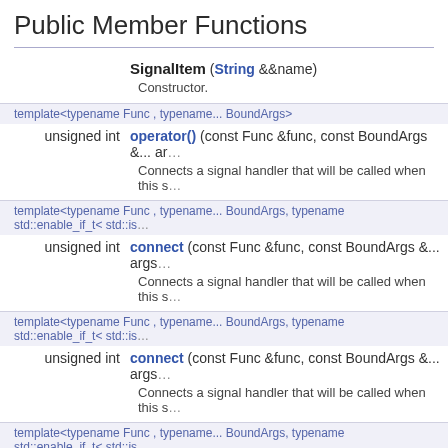Public Member Functions
| Return | Member |
| --- | --- |
|  | SignalItem (String &&name) |
|  | Constructor. |
| template<typename Func , typename... BoundArgs> |  |
| unsigned int | operator() (const Func &func, const BoundArgs &... args) |
|  | Connects a signal handler that will be called when this s |
| template<typename Func , typename... BoundArgs, typename std::enable_if_t< std::is_ |  |
| unsigned int | connect (const Func &func, const BoundArgs &... args) |
|  | Connects a signal handler that will be called when this s |
| template<typename Func , typename... BoundArgs, typename std::enable_if_t< std::is_ |  |
| unsigned int | connect (const Func &func, const BoundArgs &... args) |
|  | Connects a signal handler that will be called when this s |
| template<typename Func , typename... BoundArgs, typename std::enable_if_t< std::is_ |  |
| unsigned int | connect (const Func &func, const BoundArgs &... args) |
|  | Connects a signal handler that will be called when this s |
| template<typename Func , typename... BoundArgs, typename std::enable_if_t< std::is_ |  |
| unsigned int | connect (const Func &func, const BoundArgs &... args) |
|  | Connects a signal handler that will be called when this |